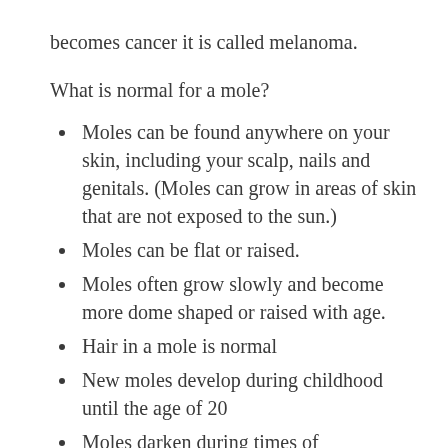becomes cancer it is called melanoma.
What is normal for a mole?
Moles can be found anywhere on your skin, including your scalp, nails and genitals. (Moles can grow in areas of skin that are not exposed to the sun.)
Moles can be flat or raised.
Moles often grow slowly and become more dome shaped or raised with age.
Hair in a mole is normal
New moles develop during childhood until the age of 20
Moles darken during times of